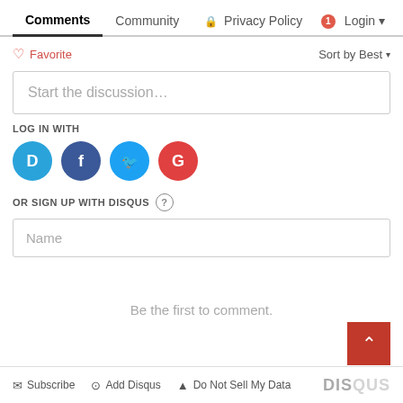Comments  Community  Privacy Policy  Login
♡ Favorite   Sort by Best ▾
Start the discussion…
LOG IN WITH
[Figure (other): Social login icons: Disqus (blue D), Facebook (dark blue f), Twitter (blue bird), Google (red G)]
OR SIGN UP WITH DISQUS  ?
Name
Be the first to comment.
✉ Subscribe   ⊙ Add Disqus   ▲ Do Not Sell My Data   DISQUS